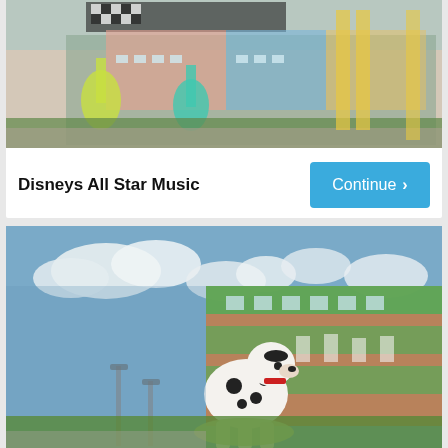[Figure (photo): Partial photo of Disney's All Star Music resort exterior showing large guitar decorations on colorful building]
Disneys All Star Music
Continue
[Figure (photo): Photo of Disney's All Star Movies resort with large 101 Dalmatians statue/sculpture in front of the hotel building]
Disneys All Star Movies
Continue